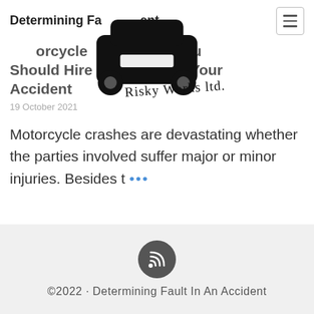Determining Fault In An Accident
[Figure (illustration): Car/vehicle icon silhouette (top-down view) overlaid on the page header area, with handwritten text 'Risky Works ltd.' over the article heading]
Motorcycle Accidents: Reasons You Should Hire a Lawyer After Your Accident
19 October 2021
Motorcycle crashes are devastating whether the parties involved suffer major or minor injuries. Besides t …